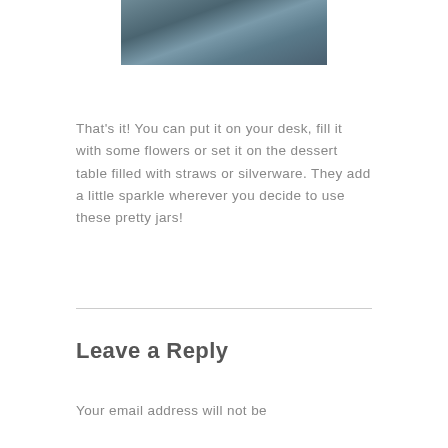[Figure (photo): Photograph of a dark blue-grey textured surface, cropped at the top of the page]
That's it! You can put it on your desk, fill it with some flowers or set it on the dessert table filled with straws or silverware. They add a little sparkle wherever you decide to use these pretty jars!
Leave a Reply
Your email address will not be